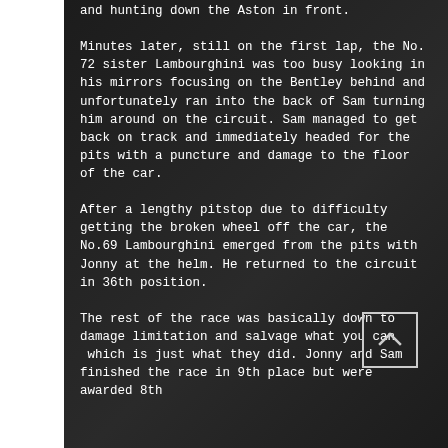and hunting down the Aston in front.
Minutes later, still on the first lap, the No. 72 sister Lambourghini was too busy looking in his mirrors focusing on the Bentley behind and unfortunately ran into the back of Sam turning him around on the circuit. Sam managed to get back on track and immediately headed for the pits with a puncture and damage to the floor of the car.
After a lengthy pitstop due to difficulty getting the broken wheel off the car, the No.69 Lambourghini emerged from the pits with Jonny at the helm. He returned to the circuit in 36th position.
The rest of the race was basically down to damage limitation and salvage what you can  which is just what they did. Jonny and Sam finished the race in 9th place but were awarded 8th